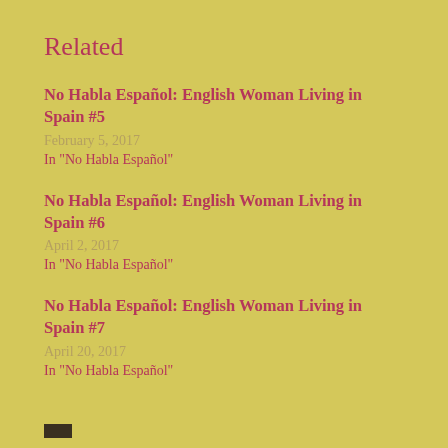Related
No Habla Español: English Woman Living in Spain #5
February 5, 2017
In "No Habla Español"
No Habla Español: English Woman Living in Spain #6
April 2, 2017
In "No Habla Español"
No Habla Español: English Woman Living in Spain #7
April 20, 2017
In "No Habla Español"